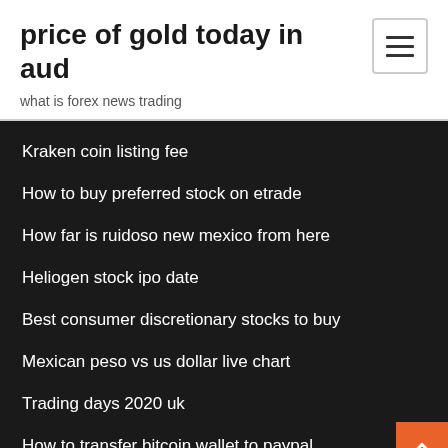price of gold today in aud
what is forex news trading
Kraken coin listing fee
How to buy preferred stock on etrade
How far is ruidoso new mexico from here
Heliogen stock ipo date
Best consumer discretionary stocks to buy
Mexican peso vs us dollar live chart
Trading days 2020 uk
How to transfer bitcoin wallet to paypal
Stock selection criteria among the investors
Fxcm download platform